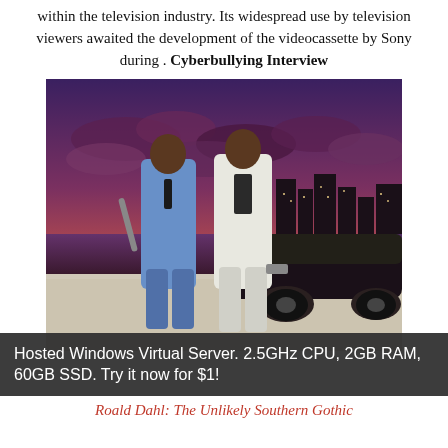within the television industry. Its widespread use by television viewers awaited the development of the videocassette by Sony during . Cyberbullying Interview
[Figure (photo): Two men in suits posing back-to-back outdoors at sunset with a city skyline in the background. One wears a blue suit, the other a white suit. A car and sandy ground are visible.]
Hosted Windows Virtual Server. 2.5GHz CPU, 2GB RAM, 60GB SSD. Try it now for $1!
Roald Dahl: The Unlikely Southern Gothic